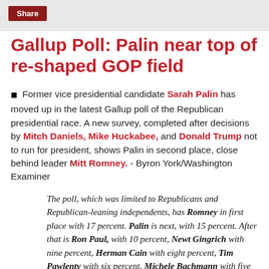Share
Gallup Poll: Palin near top of re-shaped GOP field
Former vice presidential candidate Sarah Palin has moved up in the latest Gallup poll of the Republican presidential race. A new survey, completed after decisions by Mitch Daniels, Mike Huckabee, and Donald Trump not to run for president, shows Palin in second place, close behind leader Mitt Romney. - Byron York/Washington Examiner
The poll, which was limited to Republicans and Republican-leaning independents, has Romney in first place with 17 percent. Palin is next, with 15 percent. After that is Ron Paul, with 10 percent, Newt Gingrich with nine percent, Herman Cain with eight percent, Tim Pawlenty with six percent, Michele Bachmann with five percent, and Jon Huntsman, Rick Santorum, and Gary Johnson with two percent. Twenty two...